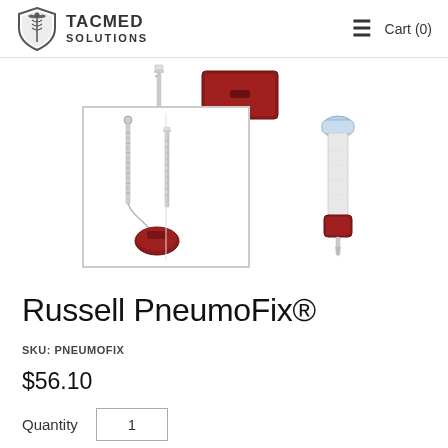TACMED SOLUTIONS   Cart (0)
[Figure (photo): TacMed Solutions product page showing Russell PneumoFix medical device. Top row: two small thumbnail images (a needle/catheter device and a red flat case). Main selected image: the Russell PneumoFix kit with two catheters/needles and a red base piece, shown in a bordered selected-state box. Side image: a single PneumoFix needle/catheter device with blue cap and red base.]
Russell PneumoFix®
SKU: PNEUMOFIX
$56.10
Quantity  1